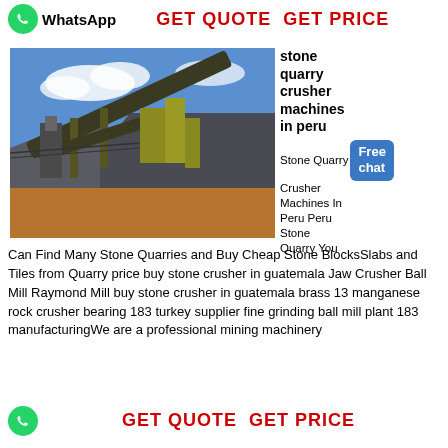WhatsApp   GET QUOTE  GET PRICE
[Figure (photo): Outdoor stone quarry crushing plant with conveyor belts, industrial machinery, and large piles of crushed gravel/aggregate against a blue sky.]
stone quarry crusher machines in peru
Stone Quarry Crusher Machines In Peru Peru Stone Quarry You Can Find Many Stone Quarries and Buy Cheap Stone BlocksSlabs and Tiles from Quarry price buy stone crusher in guatemala Jaw Crusher Ball Mill Raymond Mill buy stone crusher in guatemala brass 13 manganese rock crusher bearing 183 turkey supplier fine grinding ball mill plant 183 manufacturingWe are a professional mining machinery
GET QUOTE  GET PRICE